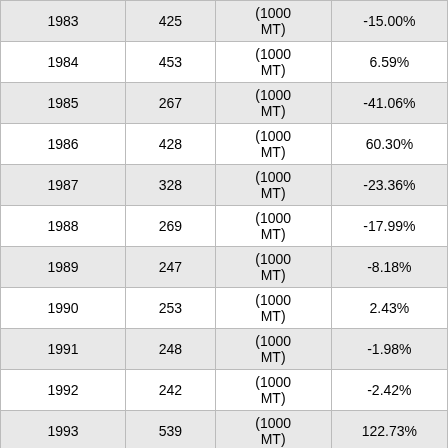| 1983 | 425 | (1000 MT) | -15.00% |
| 1984 | 453 | (1000 MT) | 6.59% |
| 1985 | 267 | (1000 MT) | -41.06% |
| 1986 | 428 | (1000 MT) | 60.30% |
| 1987 | 328 | (1000 MT) | -23.36% |
| 1988 | 269 | (1000 MT) | -17.99% |
| 1989 | 247 | (1000 MT) | -8.18% |
| 1990 | 253 | (1000 MT) | 2.43% |
| 1991 | 248 | (1000 MT) | -1.98% |
| 1992 | 242 | (1000 MT) | -2.42% |
| 1993 | 539 | (1000 MT) | 122.73% |
| 1994 | 306 | (1000 MT) | -43.23% |